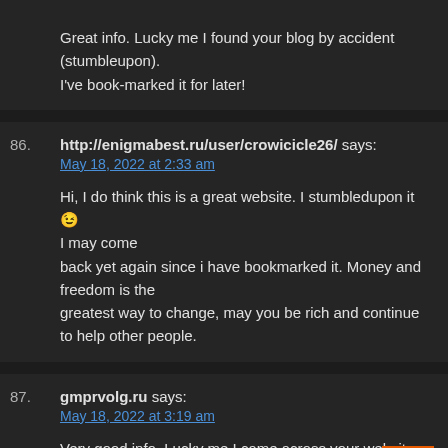Great info. Lucky me I found your blog by accident (stumbleupon).
I've book-marked it for later!
86.
http://enigmabest.ru/user/crowicicle26/ says:
May 18, 2022 at 2:33 am
Hi, I do think this is a great website. I stumbledupon it 😉 I may come back yet again since i have bookmarked it. Money and freedom is the greatest way to change, may you be rich and continue to help other people.
87.
gmprvolg.ru says:
May 18, 2022 at 3:19 am
Very good info. Lucky me I came across your website by...